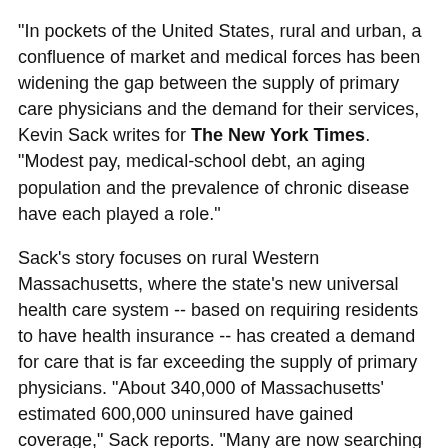"In pockets of the United States, rural and urban, a confluence of market and medical forces has been widening the gap between the supply of primary care physicians and the demand for their services, Kevin Sack writes for The New York Times. "Modest pay, medical-school debt, an aging population and the prevalence of chronic disease have each played a role."
Sack's story focuses on rural Western Massachusetts, where the state's new universal health care system -- based on requiring residents to have health insurance -- has created a demand for care that is far exceeding the supply of primary physicians. "About 340,000 of Massachusetts' estimated 600,000 uninsured have gained coverage," Sack reports. "Many are now searching for doctors and scheduling appointments for long-deferred care."
The problem affects most states. "With its population aging, the country will need 40 percent more primary care doctors by 2020, according to the American College of Physicians," Sack writes. "Community health centers, but trouble is more of a financial during the Bush...